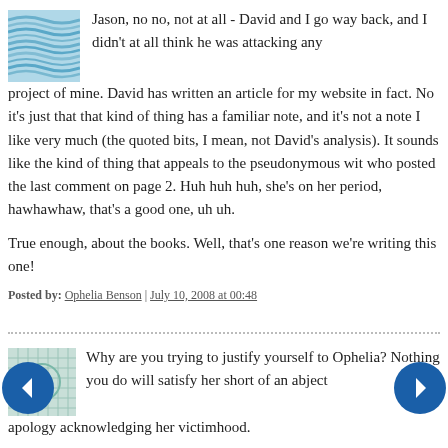Jason, no no, not at all - David and I go way back, and I didn't at all think he was attacking any project of mine. David has written an article for my website in fact. No it's just that that kind of thing has a familiar note, and it's not a note I like very much (the quoted bits, I mean, not David's analysis). It sounds like the kind of thing that appeals to the pseudonymous wit who posted the last comment on page 2. Huh huh huh, she's on her period, hawhawhaw, that's a good one, uh uh.
True enough, about the books. Well, that's one reason we're writing this one!
Posted by: Ophelia Benson | July 10, 2008 at 00:48
Why are you trying to justify yourself to Ophelia? Nothing you do will satisfy her short of an abject apology acknowledging her victimhood.